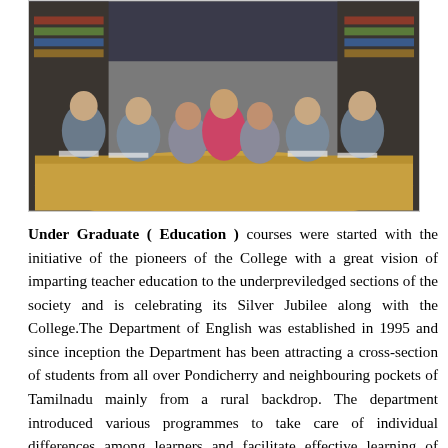[Figure (photo): A group of female students in grey uniforms sitting around a large wooden table, studying with books open. A teacher in a pink/red sari sits at the center. Bookshelves are visible in the background.]
Under Graduate ( Education ) courses were started with the initiative of the pioneers of the College with a great vision of imparting teacher education to the underpreviledged sections of the society and is celebrating its Silver Jubilee along with the College.The Department of English was established in 1995 and since inception the Department has been attracting a cross-section of students from all over Pondicherry and neighbouring pockets of Tamilnadu mainly from a rural backdrop. The department introduced various programmes to take care of individual differences among learners and facilitate effective learning of English for students from vernacular medium.It has established itself as a stronghold of teacher education. The faculty members